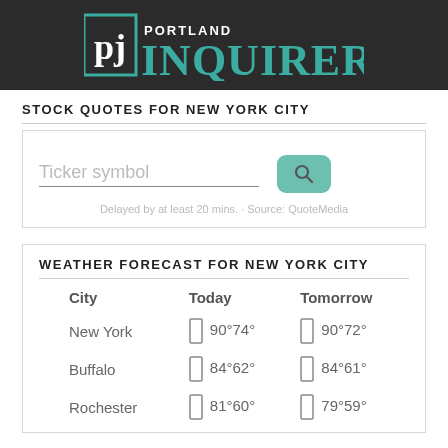Portland Inquirer
STOCK QUOTES FOR NEW YORK CITY
Ticker symbol
Delayed by at least 20 mins. · Source: QuoteMedia
WEATHER FORECAST FOR NEW YORK CITY
| City | Today | Tomorrow |
| --- | --- | --- |
| New York | 90°74° | 90°72° |
| Buffalo | 84°62° | 84°61° |
| Rochester | 81°60° | 79°59° |